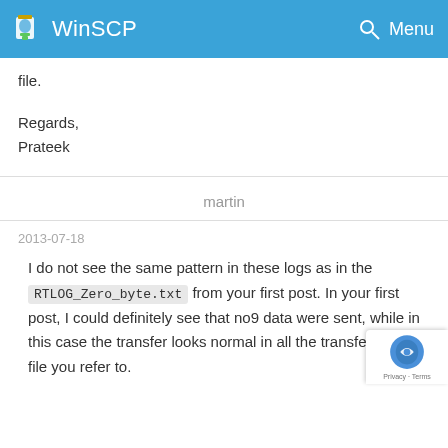WinSCP
file.
Regards,
Prateek
martin
2013-07-18
I do not see the same pattern in these logs as in the RTLOG_Zero_byte.txt from your first post. In your first post, I could definitely see that no9 data were sent, while in this case the transfer looks normal in all the transfer of the file you refer to.